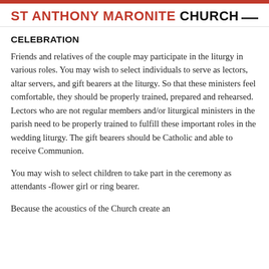ST ANTHONY MARONITE CHURCH
CELEBRATION
Friends and relatives of the couple may participate in the liturgy in various roles. You may wish to select individuals to serve as lectors, altar servers, and gift bearers at the liturgy. So that these ministers feel comfortable, they should be properly trained, prepared and rehearsed. Lectors who are not regular members and/or liturgical ministers in the parish need to be properly trained to fulfill these important roles in the wedding liturgy. The gift bearers should be Catholic and able to receive Communion.
You may wish to select children to take part in the ceremony as attendants -flower girl or ring bearer.
Because the acoustics of the Church create an